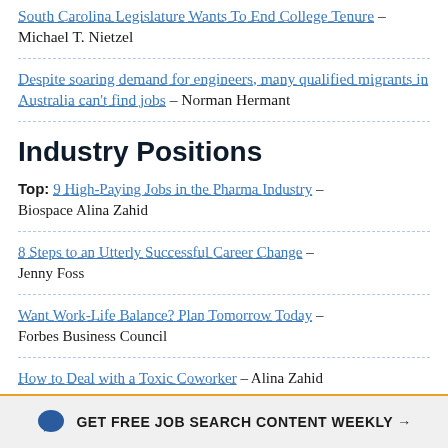South Carolina Legislature Wants To End College Tenure – Michael T. Nietzel
Despite soaring demand for engineers, many qualified migrants in Australia can't find jobs – Norman Hermant
Industry Positions
Top: 9 High-Paying Jobs in the Pharma Industry – Biospace Alina Zahid
8 Steps to an Utterly Successful Career Change – Jenny Foss
Want Work-Life Balance? Plan Tomorrow Today – Forbes Business Council
How to Deal with a Toxic Coworker – Alina Zahid
GET FREE JOB SEARCH CONTENT WEEKLY →